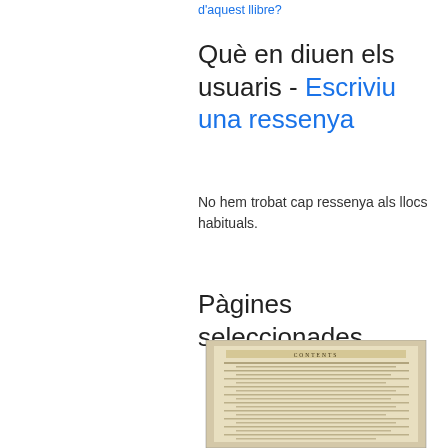d'aquest llibre?
Què en diuen els usuaris - Escriviu una ressenya
No hem trobat cap ressenya als llocs habituals.
Pàgines seleccionades
[Figure (photo): A scanned page of an old book showing a table of contents titled CONTENTS with various chapter entries in small print on aged paper.]